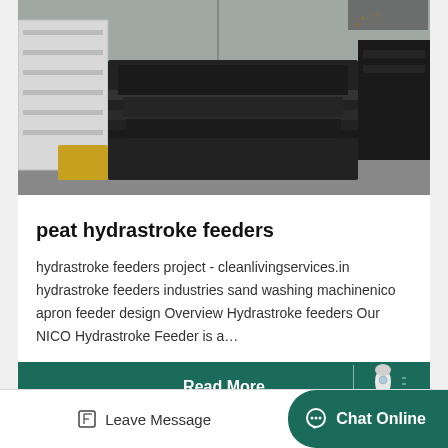[Figure (photo): Industrial feeder machine being welded or spark-cut in a factory setting, showing large black and white metal panels/components]
peat hydrastroke feeders
hydrastroke feeders project - cleanlivingservices.in hydrastroke feeders industries sand washing machinenico apron feeder design Overview Hydrastroke feeders Our NICO Hydrastroke Feeder is a…
Read More
[Figure (photo): Partially visible industrial machinery in a facility, showing steel structures and orange/grey equipment]
Leave Message
Chat Online